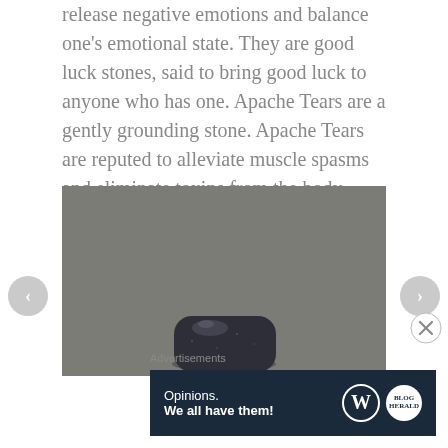release negative emotions and balance one's emotional state. They are good luck stones, said to bring good luck to anyone who has one. Apache Tears are a gently grounding stone. Apache Tears are reputed to alleviate muscle spasms and eliminate toxins from the body.
[Figure (photo): A dark polished Apache Tears stone (obsidian nodule) resting on a grey textured surface. Navigation arrows are visible on the left and right sides of the image.]
Advertisements
[Figure (other): Advertisement banner with dark navy background reading 'Opinions. We all have them!' with WordPress and Blog logos on the right.]